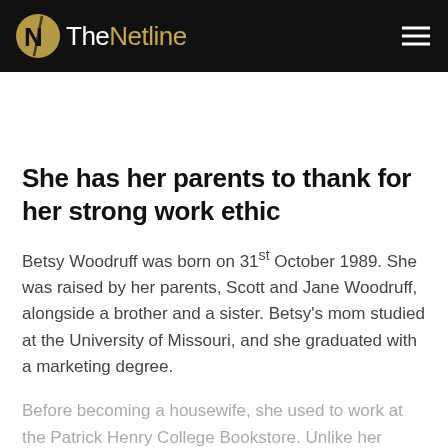TheNetline
She has her parents to thank for her strong work ethic
Betsy Woodruff was born on 31st October 1989. She was raised by her parents, Scott and Jane Woodruff, alongside a brother and a sister. Betsy's mom studied at the University of Missouri, and she graduated with a marketing degree.
Before becoming a housewife, she used to work at the Patrick Henry College Bookstore. Unlike her daughter,